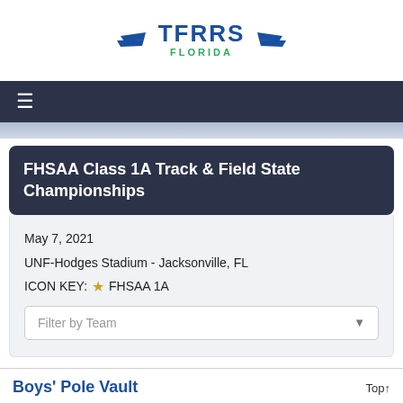[Figure (logo): TFRRS Florida logo with wings and blue/green text]
≡
FHSAA Class 1A Track & Field State Championships
May 7, 2021
UNF-Hodges Stadium - Jacksonville, FL
ICON KEY: ★ FHSAA 1A
Filter by Team
Boys' Pole Vault
Top↑
| PL | NAME | TEAM | MARK | CONV | SC |
| --- | --- | --- | --- | --- | --- |